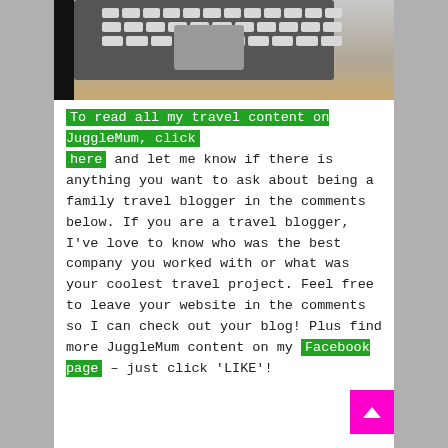[Figure (photo): Partial view of a laptop keyboard and trackpad on a wooden desk surface, with a black border on the left side.]
To read all my travel content on JuggleMum, click here and let me know if there is anything you want to ask about being a family travel blogger in the comments below. If you are a travel blogger, I've love to know who was the best company you worked with or what was your coolest travel project. Feel free to leave your website in the comments so I can check out your blog! Plus find more JuggleMum content on my Facebook page – just click 'LIKE'!